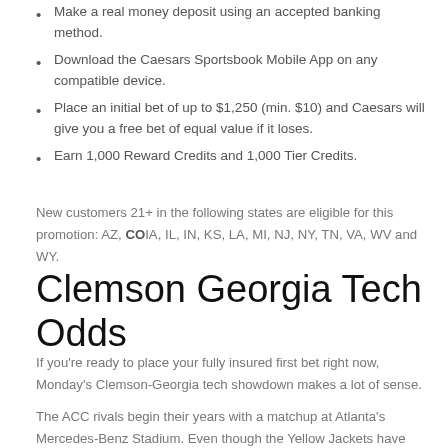Make a real money deposit using an accepted banking method.
Download the Caesars Sportsbook Mobile App on any compatible device.
Place an initial bet of up to $1,250 (min. $10) and Caesars will give you a free bet of equal value if it loses.
Earn 1,000 Reward Credits and 1,000 Tier Credits.
New customers 21+ in the following states are eligible for this promotion: AZ, CO IA, IL, IN, KS, LA, MI, NJ, NY, TN, VA, WV and WY.
Clemson Georgia Tech Odds
If you're ready to place your fully insured first bet right now, Monday's Clemson-Georgia tech showdown makes a lot of sense.
The ACC rivals begin their years with a matchup at Atlanta's Mercedes-Benz Stadium. Even though the Yellow Jackets have home field advantage, the Tigers are -23.5 against the spread. Clemson has dominated the rivalry with